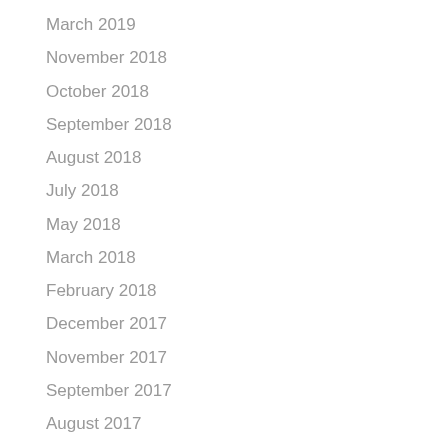March 2019
November 2018
October 2018
September 2018
August 2018
July 2018
May 2018
March 2018
February 2018
December 2017
November 2017
September 2017
August 2017
June 2017